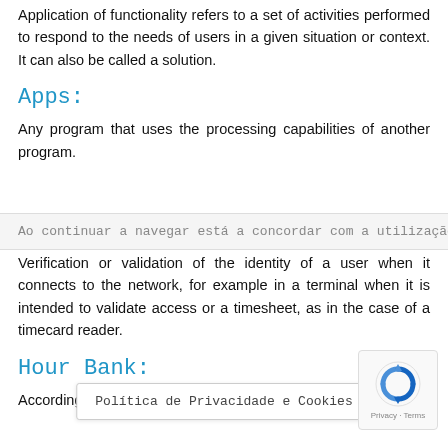Application of functionality refers to a set of activities performed to respond to the needs of users in a given situation or context. It can also be called a solution.
Apps:
Any program that uses the processing capabilities of another program.
Ao continuar a navegar está a concordar com a utilização de
Verification or validation of the identity of a user when it connects to the network, for example in a terminal when it is intended to validate access or a timesheet, as in the case of a timecard reader.
Hour Bank:
According to ... e, it is a timekeeping
Política de Privacidade e Cookies